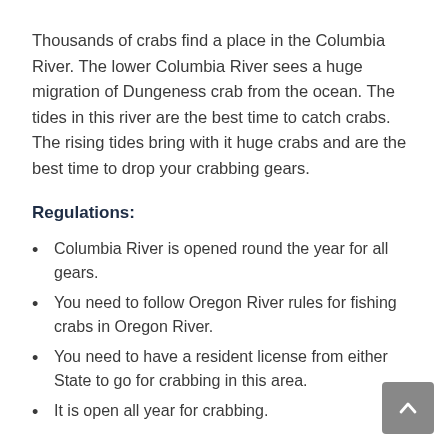Thousands of crabs find a place in the Columbia River. The lower Columbia River sees a huge migration of Dungeness crab from the ocean. The tides in this river are the best time to catch crabs. The rising tides bring with it huge crabs and are the best time to drop your crabbing gears.
Regulations:
Columbia River is opened round the year for all gears.
You need to follow Oregon River rules for fishing crabs in Oregon River.
You need to have a resident license from either State to go for crabbing in this area.
It is open all year for crabbing.